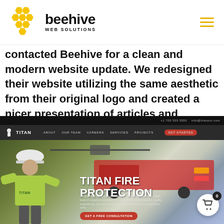[Figure (logo): Beehive Web Solutions logo with yellow honeycomb graphic and wordmark]
contacted Beehive for a clean and modern website update. We redesigned their website utilizing the same aesthetic from their original logo and created a nicer presentation of articles and information relevant to their...
[Figure (screenshot): Screenshot of the Titan Fire Protection website showing navigation bar, hero image with worker in hard hat and safety vest, large white bold text 'TITAN FIRE PROTECTION', description text, and a red 'GET A FREE CONSULTATION' button. A shopping cart bubble with 0 count is visible in the bottom right corner.]